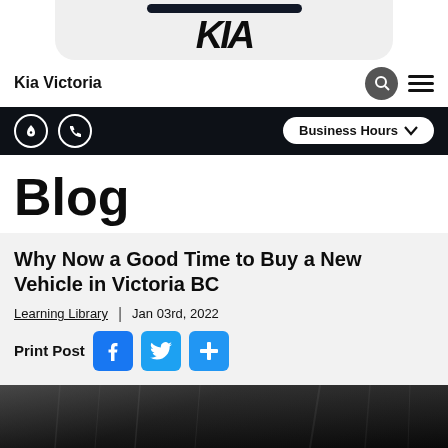[Figure (logo): Kia logo with KIA wordmark on light grey rounded background]
Kia Victoria
Business Hours
Blog
Why Now a Good Time to Buy a New Vehicle in Victoria BC
Learning Library | Jan 03rd, 2022
Print Post
[Figure (photo): Dark building exterior photo, partial view]